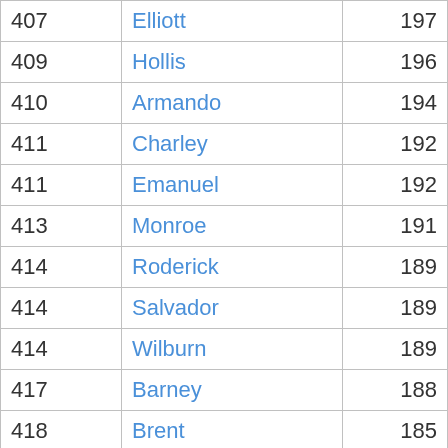| 407 | Elliott | 197 |
| 409 | Hollis | 196 |
| 410 | Armando | 194 |
| 411 | Charley | 192 |
| 411 | Emanuel | 192 |
| 413 | Monroe | 191 |
| 414 | Roderick | 189 |
| 414 | Salvador | 189 |
| 414 | Wilburn | 189 |
| 417 | Barney | 188 |
| 418 | Brent | 185 |